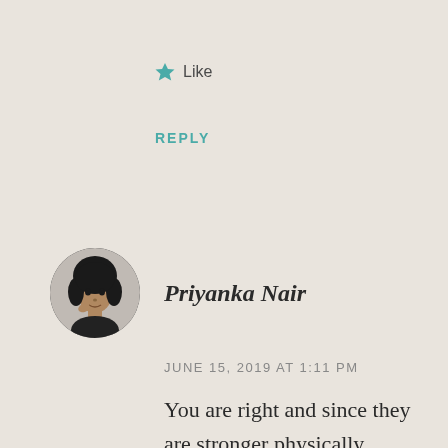★ Like
REPLY
[Figure (photo): Circular avatar photo of Priyanka Nair, a woman with dark hair, black and white portrait style]
Priyanka Nair
JUNE 15, 2019 AT 1:11 PM
You are right and since they are stronger physically